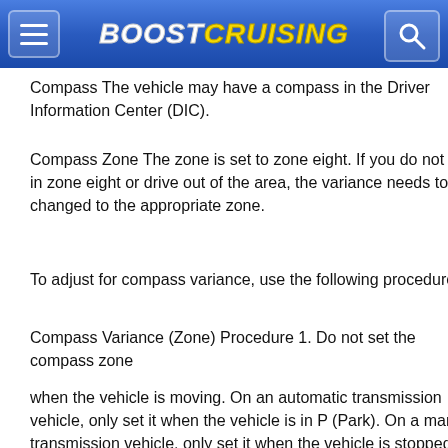BoostCruising
Compass The vehicle may have a compass in the Driver Information Center (DIC).
Compass Zone The zone is set to zone eight. If you do not live in zone eight or drive out of the area, the variance needs to be changed to the appropriate zone.
To adjust for compass variance, use the following procedure:
Compass Variance (Zone) Procedure 1. Do not set the compass zone
when the vehicle is moving. On an automatic transmission vehicle, only set it when the vehicle is in P (Park). On a manual transmission vehicle, only set it when the vehicle is stopped.
Press T until PRESS V TO CHANGE COMPASS ZONE displays.